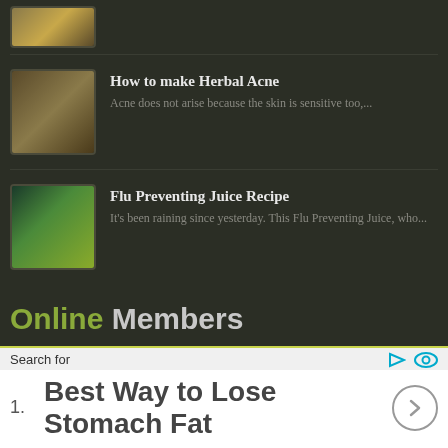[Figure (photo): Thumbnail image of a food/drink item (partial, cropped at top)]
How to make Herbal Acne
Acne does not arise because the skin is sensitive too,...
Flu Preventing Juice Recipe
It's been raining since yesterday. This Flu Preventing Juice, who...
Online Members
No online members
Search for
1. Best Way to Lose Stomach Fat